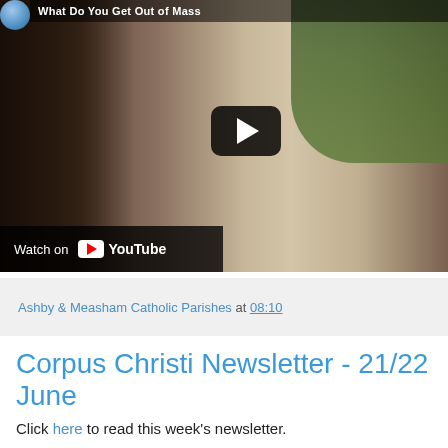[Figure (screenshot): YouTube video thumbnail showing a man in a grey t-shirt with eyes closed, with a YouTube play button overlay. Title bar reads 'What Do You Get Out of Mass'. 'Watch on YouTube' button visible at bottom left.]
Ashby & Measham Catholic Parishes at 08:10
Corpus Christi Newsletter - 21/22 June
Click here to read this week's newsletter.